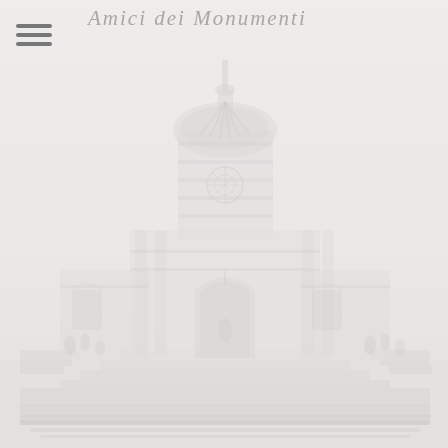Amici dei Monumenti
[Figure (illustration): A faded light-gray pencil or line-art illustration of a historic church or monument facade with dome, arched entrance, columns, steps, and surrounding landscape with small figures. The image has a very pale, washed-out appearance.]